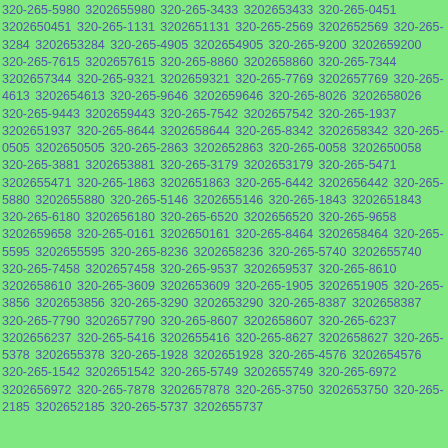320-265-5980 3202655980 320-265-3433 3202653433 320-265-0451 3202650451 320-265-1131 3202651131 320-265-2569 3202652569 320-265-3284 3202653284 320-265-4905 3202654905 320-265-9200 3202659200 320-265-7615 3202657615 320-265-8860 3202658860 320-265-7344 3202657344 320-265-9321 3202659321 320-265-7769 3202657769 320-265-4613 3202654613 320-265-9646 3202659646 320-265-8026 3202658026 320-265-9443 3202659443 320-265-7542 3202657542 320-265-1937 3202651937 320-265-8644 3202658644 320-265-8342 3202658342 320-265-0505 3202650505 320-265-2863 3202652863 320-265-0058 3202650058 320-265-3881 3202653881 320-265-3179 3202653179 320-265-5471 3202655471 320-265-1863 3202651863 320-265-6442 3202656442 320-265-5880 3202655880 320-265-5146 3202655146 320-265-1843 3202651843 320-265-6180 3202656180 320-265-6520 3202656520 320-265-9658 3202659658 320-265-0161 3202650161 320-265-8464 3202658464 320-265-5595 3202655595 320-265-8236 3202658236 320-265-5740 3202655740 320-265-7458 3202657458 320-265-9537 3202659537 320-265-8610 3202658610 320-265-3609 3202653609 320-265-1905 3202651905 320-265-3856 3202653856 320-265-3290 3202653290 320-265-8387 3202658387 320-265-7790 3202657790 320-265-8607 3202658607 320-265-6237 3202656237 320-265-5416 3202655416 320-265-8627 3202658627 320-265-5378 3202655378 320-265-1928 3202651928 320-265-4576 3202654576 320-265-1542 3202651542 320-265-5749 3202655749 320-265-6972 3202656972 320-265-7878 3202657878 320-265-3750 3202653750 320-265-2185 3202652185 320-265-5737 3202655737